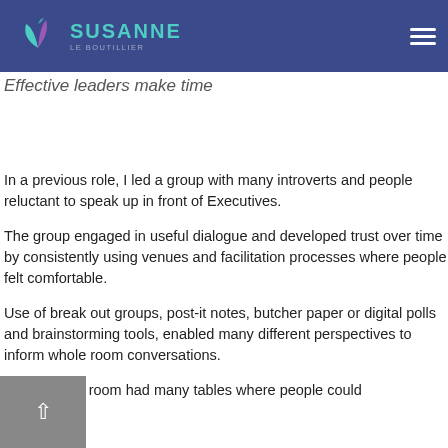SUSANNE LE BOUTILLIER
Effective leaders make time
In a previous role, I led a group with many introverts and people reluctant to speak up in front of Executives.
The group engaged in useful dialogue and developed trust over time by consistently using venues and facilitation processes where people felt comfortable.
Use of break out groups, post-it notes, butcher paper or digital polls and brainstorming tools, enabled many different perspectives to inform whole room conversations.
The meeting room had many tables where people could